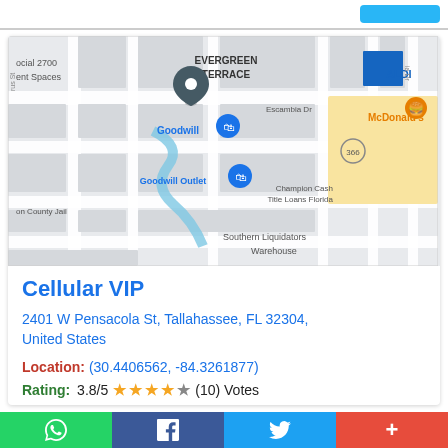[Figure (map): Google Maps view showing Evergreen Terrace neighborhood in Tallahassee, FL. Visible landmarks include Goodwill, Goodwill Outlet, McDonald's, ALDI, Champion Cash Title Loans Florida, Leon County Jail, Southern Liquidators Warehouse, and a location pin at 2401 W Pensacola St.]
Cellular VIP
2401 W Pensacola St, Tallahassee, FL 32304, United States
Location: (30.4406562, -84.3261877)
Rating: 3.8/5 ★★★★☆ (10) Votes